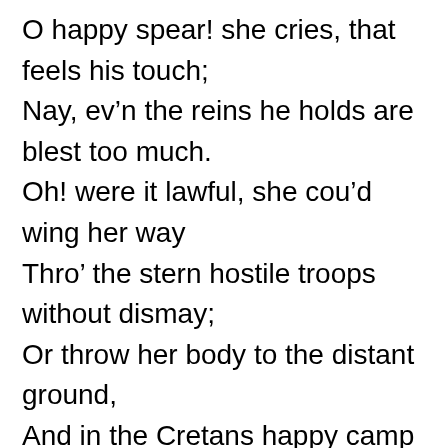O happy spear! she cries, that feels his touch;
Nay, ev'n the reins he holds are blest too much.
Oh! were it lawful, she cou'd wing her way
Thro' the stern hostile troops without dismay;
Or throw her body to the distant ground,
And in the Cretans happy camp be found.
Wou'd Minos but desire it! she'd expose
Her native country to her country's foes;
Unbar the gates, the town with flames infest,
Or any thing that Minos shou'd request.
And as she sate, and pleas'd her longing sight,
Viewing the king's pavilion veil'd with white,
Shou'd joy, or grief, she said, possess my breast,